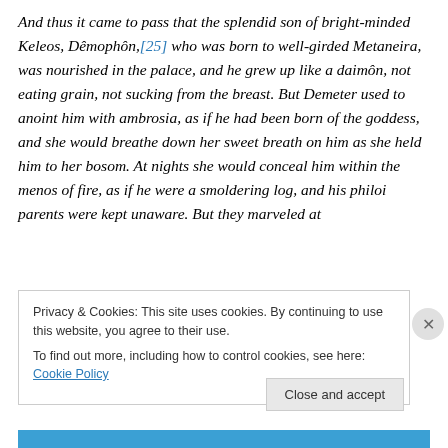And thus it came to pass that the splendid son of bright-minded Keleos, Dêmophôn,[25] who was born to well-girded Metaneira, was nourished in the palace, and he grew up like a daimôn, not eating grain, not sucking from the breast. But Demeter used to anoint him with ambrosia, as if he had been born of the goddess, and she would breathe down her sweet breath on him as she held him to her bosom. At nights she would conceal him within the menos of fire, as if he were a smoldering log, and his philoi parents were kept unaware. But they marveled at
Privacy & Cookies: This site uses cookies. By continuing to use this website, you agree to their use.
To find out more, including how to control cookies, see here: Cookie Policy